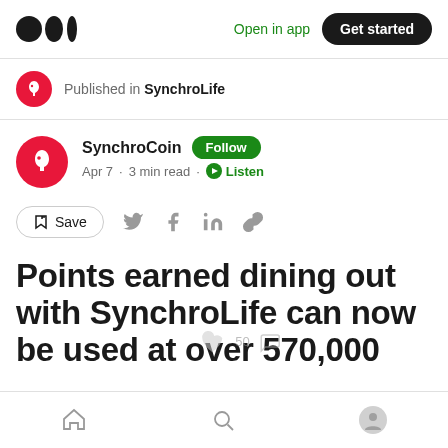Medium logo | Open in app | Get started
Published in SynchroLife
SynchroLife · Follow · Apr 7 · 3 min read · Listen
Save (action bar with social share icons)
Points earned dining out with SynchroLife can now be used at over 570,000
Home | Search | Profile (bottom navigation)